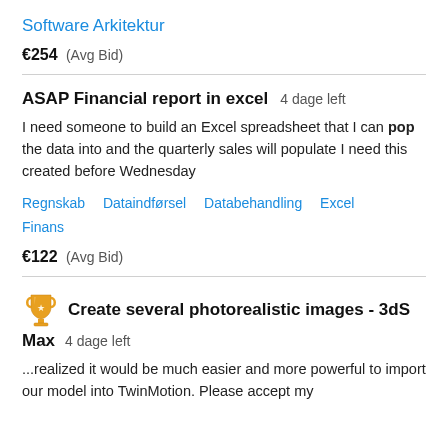Software Arkitektur
€254  (Avg Bid)
ASAP Financial report in excel  4 dage left
I need someone to build an Excel spreadsheet that I can pop the data into and the quarterly sales will populate I need this created before Wednesday
Regnskab   Dataindførsel   Databehandling   Excel   Finans
€122  (Avg Bid)
Create several photorealistic images - 3dS Max  4 dage left
...realized it would be much easier and more powerful to import our model into TwinMotion. Please accept my